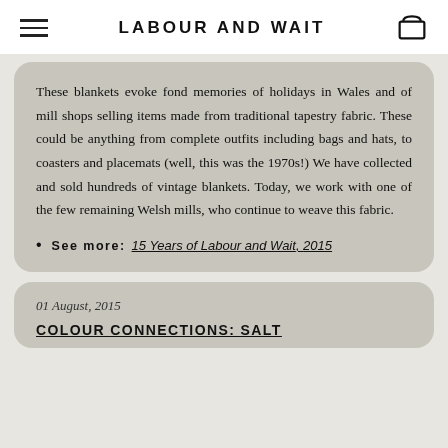LABOUR AND WAIT
These blankets evoke fond memories of holidays in Wales and of mill shops selling items made from traditional tapestry fabric. These could be anything from complete outfits including bags and hats, to coasters and placemats (well, this was the 1970s!) We have collected and sold hundreds of vintage blankets. Today, we work with one of the few remaining Welsh mills, who continue to weave this fabric.
See more: 15 Years of Labour and Wait, 2015
01 August, 2015
COLOUR CONNECTIONS: SALT